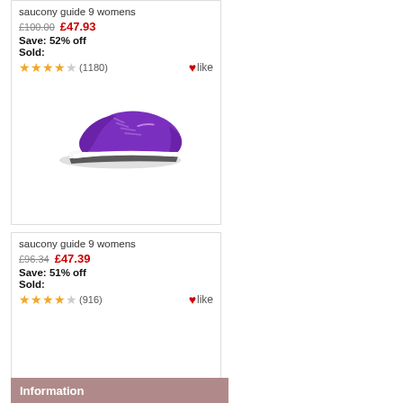saucony guide 9 womens
£100.00  £47.93
Save: 52% off
Sold:
★★★★☆ (1180)  ♥like
[Figure (photo): Purple Saucony Guide 9 womens running shoe on white background]
saucony guide 9 womens
£96.34  £47.39
Save: 51% off
Sold:
★★★★☆ (916)  ♥like
Information